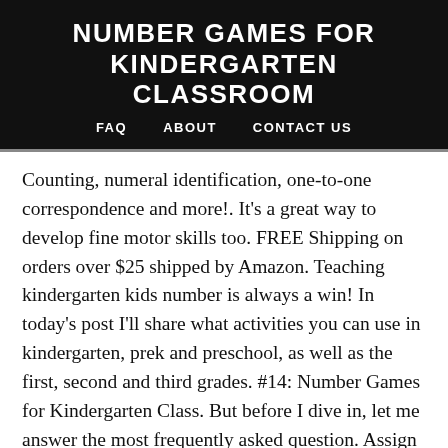NUMBER GAMES FOR KINDERGARTEN CLASSROOM
FAQ   ABOUT   CONTACT US
Counting, numeral identification, one-to-one correspondence and more!. It's a great way to develop fine motor skills too. FREE Shipping on orders over $25 shipped by Amazon. Teaching kindergarten kids number is always a win! In today's post I'll share what activities you can use in kindergarten, prek and preschool, as well as the first, second and third grades. #14: Number Games for Kindergarten Class. But before I dive in, let me answer the most frequently asked question. Assign partners and give each pair a